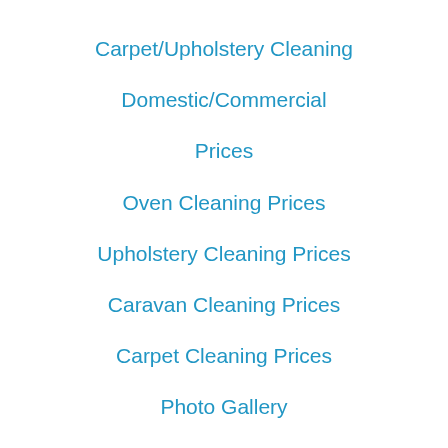Carpet/Upholstery Cleaning
Domestic/Commercial
Prices
Oven Cleaning Prices
Upholstery Cleaning Prices
Caravan Cleaning Prices
Carpet Cleaning Prices
Photo Gallery
Contact